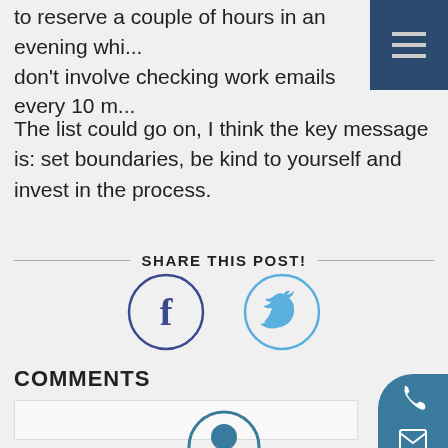to reserve a couple of hours in an evening whi... don't involve checking work emails every 10 m...
The list could go on, I think the key message is: set boundaries, be kind to yourself and invest in the process.
SHARE THIS POST!
[Figure (illustration): Facebook and Twitter social share icons (circular outlines with f and bird logos)]
COMMENTS
[Figure (illustration): Contact sidebar widget with phone, email, and location icons on teal rounded rectangle, and partial avatar circle at bottom]